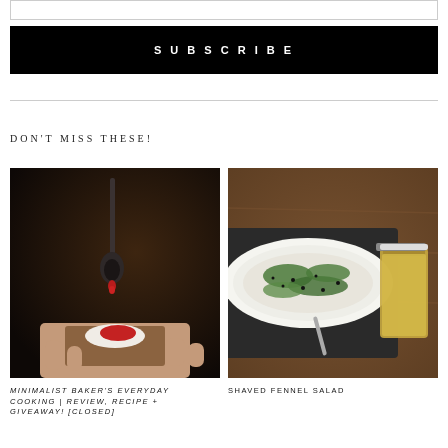[Figure (other): Empty input/text field with border]
SUBSCRIBE
[Figure (other): Left food photo: dark background with a spoon dropping red jam/sauce onto a piece of bread with cream, hand visible]
[Figure (other): Right food photo: shaved fennel salad in a white oval dish with dill and black sesame seeds, jar of oil on wooden board]
DON'T MISS THESE!
MINIMALIST BAKER'S EVERYDAY COOKING | REVIEW, RECIPE + GIVEAWAY! [CLOSED]
SHAVED FENNEL SALAD